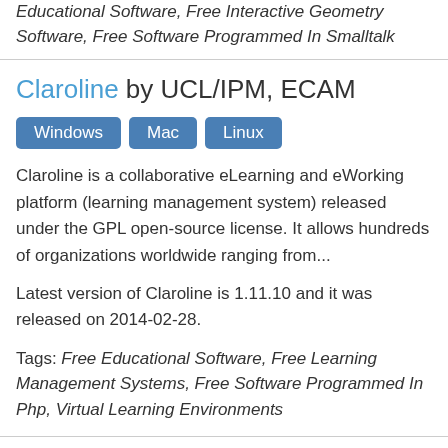Educational Software, Free Interactive Geometry Software, Free Software Programmed In Smalltalk
Claroline by UCL/IPM, ECAM
Windows Mac Linux
Claroline is a collaborative eLearning and eWorking platform (learning management system) released under the GPL open-source license. It allows hundreds of organizations worldwide ranging from...
Latest version of Claroline is 1.11.10 and it was released on 2014-02-28.
Tags: Free Educational Software, Free Learning Management Systems, Free Software Programmed In Php, Virtual Learning Environments
CaRMetal by Eric Hakenholz, Patrice